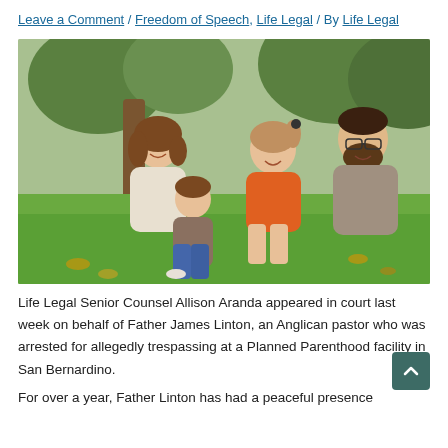Leave a Comment / Freedom of Speech, Life Legal / By Life Legal
[Figure (photo): Family photo of a woman, man, and two children sitting on grass in a park under a tree. The woman holds a toddler on her left, a young girl in an orange top sits in the middle, and a bearded man with glasses sits on the right.]
Life Legal Senior Counsel Allison Aranda appeared in court last week on behalf of Father James Linton, an Anglican pastor who was arrested for allegedly trespassing at a Planned Parenthood facility in San Bernardino.
For over a year, Father Linton has had a peaceful presence